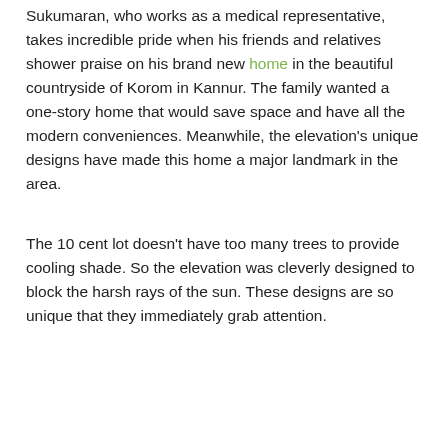Sukumaran, who works as a medical representative, takes incredible pride when his friends and relatives shower praise on his brand new home in the beautiful countryside of Korom in Kannur. The family wanted a one-story home that would save space and have all the modern conveniences. Meanwhile, the elevation's unique designs have made this home a major landmark in the area.
The 10 cent lot doesn't have too many trees to provide cooling shade. So the elevation was cleverly designed to block the harsh rays of the sun. These designs are so unique that they immediately grab attention.